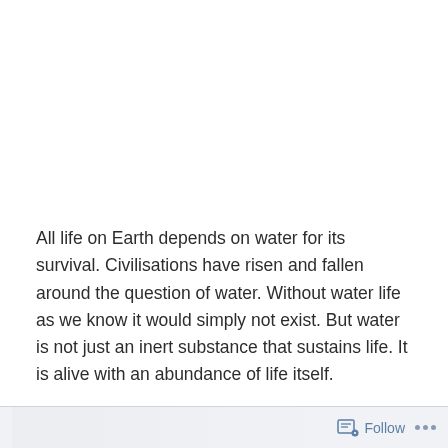All life on Earth depends on water for its survival. Civilisations have risen and fallen around the question of water. Without water life as we know it would simply not exist. But water is not just an inert substance that sustains life. It is alive with an abundance of life itself.
Follow ···